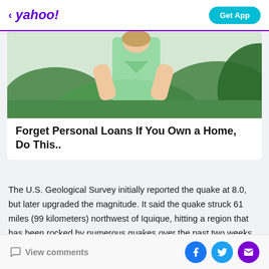< yahoo! | Get App
[Figure (photo): Woman in mint green dress posing outdoors with bushes in background]
Forget Personal Loans If You Own a Home, Do This..
The U.S. Geological Survey initially reported the quake at 8.0, but later upgraded the magnitude. It said the quake struck 61 miles (99 kilometers) northwest of Iquique, hitting a region that has been rocked by numerous quakes over the past two weeks.
View comments | Facebook | Twitter | Email